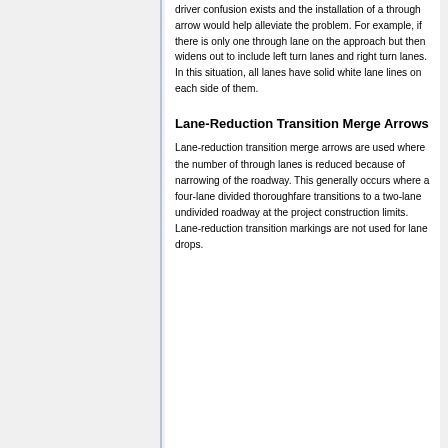driver confusion exists and the installation of a through arrow would help alleviate the problem. For example, if there is only one through lane on the approach but then widens out to include left turn lanes and right turn lanes. In this situation, all lanes have solid white lane lines on each side of them.
Lane-Reduction Transition Merge Arrows
Lane-reduction transition merge arrows are used where the number of through lanes is reduced because of narrowing of the roadway. This generally occurs where a four-lane divided thoroughfare transitions to a two-lane undivided roadway at the project construction limits. Lane-reduction transition markings are not used for lane drops.